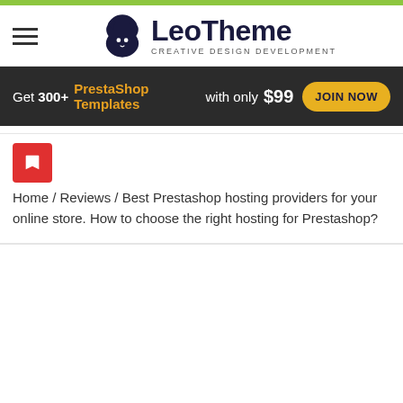[Figure (logo): LeoTheme logo with lion head icon and text 'LeoTheme CREATIVE DESIGN DEVELOPMENT']
[Figure (infographic): Dark banner: Get 300+ PrestaShop Templates with only $99 JOIN NOW button]
[Figure (other): Red square icon box with white bookmark/flag icon]
Home / Reviews / Best Prestashop hosting providers for your online store. How to choose the right hosting for Prestashop?